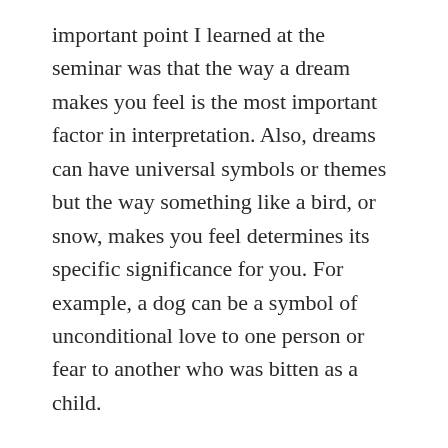important point I learned at the seminar was that the way a dream makes you feel is the most important factor in interpretation. Also, dreams can have universal symbols or themes but the way something like a bird, or snow, makes you feel determines its specific significance for you. For example, a dog can be a symbol of unconditional love to one person or fear to another who was bitten as a child.
I stopped keeping the dream diary after I had noticed two patterns – nonsense and themes. I also decided that if a dream was important enough I would still remember it the next day and not need to write it down in the middle of the night or even as soon as I woke. Many of my dreams made absolutely no sense and seemed to contain vague references to a person, place or thing I